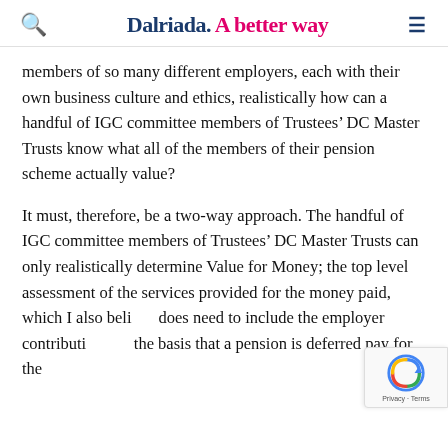Dalriada. A better way
members of so many different employers, each with their own business culture and ethics, realistically how can a handful of IGC committee members of Trustees’ DC Master Trusts know what all of the members of their pension scheme actually value?
It must, therefore, be a two-way approach. The handful of IGC committee members of Trustees’ DC Master Trusts can only realistically determine Value for Money; the top level assessment of the services provided for the money paid, which I also believe does need to include the employer contributions on the basis that a pension is deferred pay for the